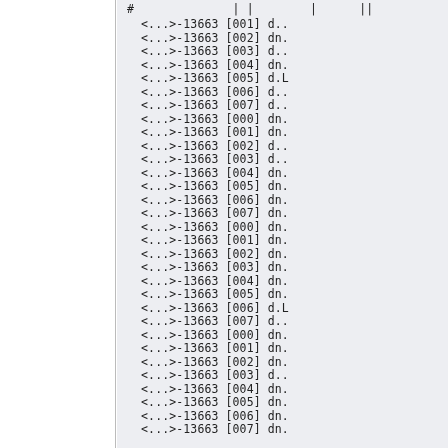# | | | ||  <...>-13663 [001] d.. <...>-13663 [002] dn. <...>-13663 [003] d.. <...>-13663 [004] dn. <...>-13663 [005] d.L <...>-13663 [006] d.. <...>-13663 [007] d.. <...>-13663 [000] dn. <...>-13663 [001] dn. <...>-13663 [002] d.. <...>-13663 [003] d.. <...>-13663 [004] dn. <...>-13663 [005] dn. <...>-13663 [006] dn. <...>-13663 [007] dn. <...>-13663 [000] dn. <...>-13663 [001] dn. <...>-13663 [002] dn. <...>-13663 [003] dn. <...>-13663 [004] dn. <...>-13663 [005] dn. <...>-13663 [006] d.L <...>-13663 [007] d.. <...>-13663 [000] dn. <...>-13663 [001] dn. <...>-13663 [002] dn. <...>-13663 [003] d.. <...>-13663 [004] dn. <...>-13663 [005] dn. <...>-13663 [006] dn. <...>-13663 [007] dn.